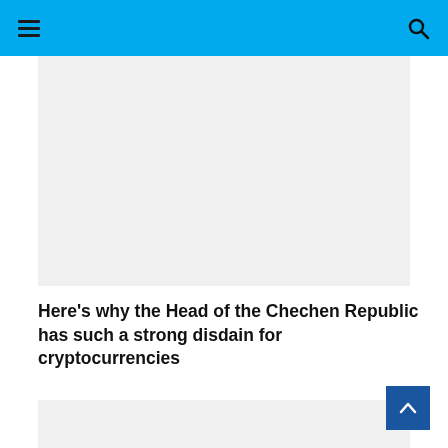Navigation bar with hamburger menu and search icon
[Figure (other): Gray placeholder image block at top of article]
Here’s why the Head of the Chechen Republic has such a strong disdain for cryptocurrencies
[Figure (other): Gray placeholder image block below article title]